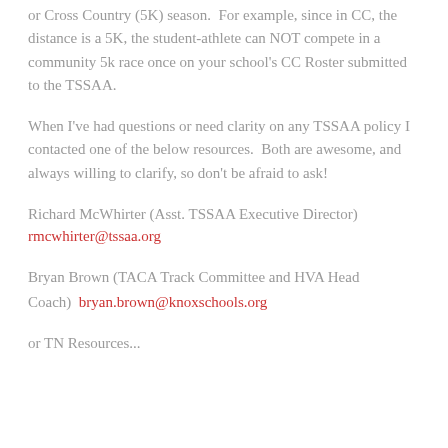or Cross Country (5K) season. For example, since in CC, the distance is a 5K, the student-athlete can NOT compete in a community 5k race once on your school's CC Roster submitted to the TSSAA.
When I've had questions or need clarity on any TSSAA policy I contacted one of the below resources. Both are awesome, and always willing to clarify, so don't be afraid to ask!
Richard McWhirter (Asst. TSSAA Executive Director)
rmcwhirter@tssaa.org
Bryan Brown (TACA Track Committee and HVA Head Coach)  bryan.brown@knoxschools.org
or TN Resources...